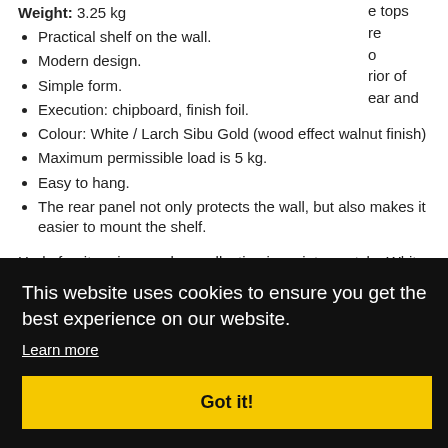Weight: 3.25 kg
Practical shelf on the wall.
Modern design.
Simple form.
Execution: chipboard, finish foil.
Colour: White / Larch Sibu Gold (wood effect walnut finish)
Maximum permissible load is 5 kg.
Easy to hang.
The rear panel not only protects the wall, but also makes it easier to mount the shelf.
Heda furniture is a modern collection in a vintage style. White gloss [partially obscured by cookie banner] ...tops ...re ...o ...rior of ...ear and
[Figure (screenshot): Cookie consent overlay with black background. Text: 'This website uses cookies to ensure you get the best experience on our website.' Link: 'Learn more'. Button: 'Got it!' in yellow.]
Copy of assembly instructions is available below to download in